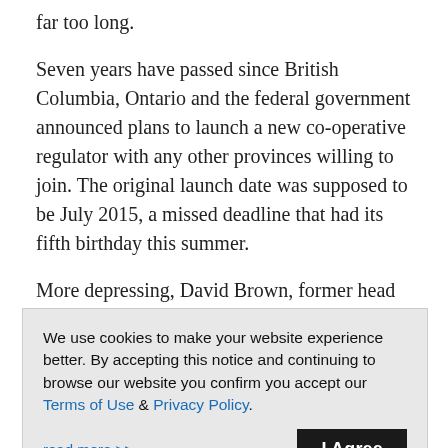far too long.
Seven years have passed since British Columbia, Ontario and the federal government announced plans to launch a new co-operative regulator with any other provinces willing to join. The original launch date was supposed to be July 2015, a missed deadline that had its fifth birthday this summer.
More depressing, David Brown, former head of the Ontario Securities Commission (OSC), first floated the idea of a pan-Canadian regulator almost 20 years ago at the OSC's annual conference in 2001.
We use cookies to make your website experience better. By accepting this notice and continuing to browse our website you confirm you accept our Terms of Use & Privacy Policy.
read more >>
I Agree
clever way to avoid the constitutional thicket that